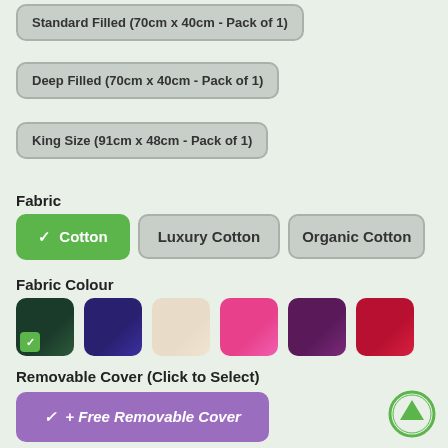Standard Filled (70cm x 40cm - Pack of 1)
Deep Filled (70cm x 40cm - Pack of 1)
King Size (91cm x 48cm - Pack of 1)
Fabric
✓ Cotton
Luxury Cotton
Organic Cotton
Fabric Colour
[Figure (other): Six fabric colour swatches: dark navy/green (selected with checkmark), dark blue/indigo, cream/beige, pink/hot pink, dark purple, red/crimson]
Removable Cover (Click to Select)
✓ + Free Removable Cover
Aroma (Click to Select)
Scented (Organic Lavender Buds) + £2.00